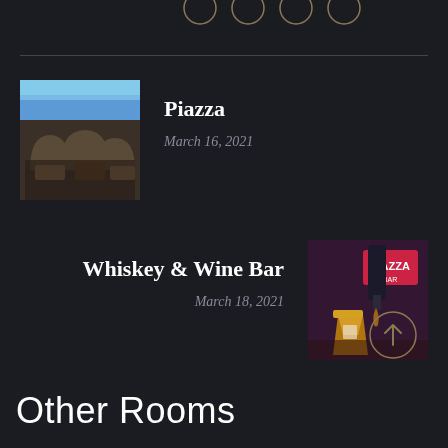[Figure (other): Partial view of decorative circles at top of page]
[Figure (photo): Interior photo of Piazza restaurant/venue with arched ceilings and tables]
Piazza
March 16, 2021
[Figure (photo): Photo of whiskey glasses with Piazza sign in background at Whiskey & Wine Bar]
Whiskey & Wine Bar
March 18, 2021
[Figure (other): Circular up-arrow button icon]
Other Rooms